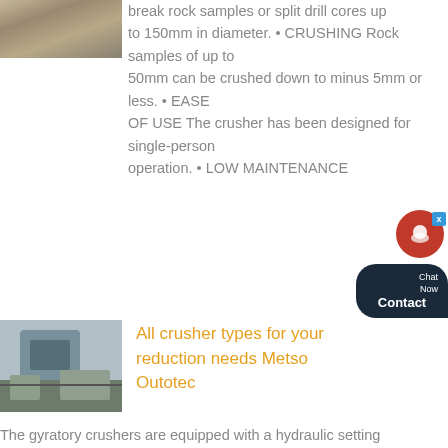[Figure (photo): Rock/gravel quarry or mining site photo, partially visible at top left]
break rock samples or split drill cores up to 150mm in diameter. • CRUSHING Rock samples of up to 50mm can be crushed down to minus 5mm or less. • EASE OF USE The crusher has been designed for single-person operation. • LOW MAINTENANCE
[Figure (photo): Large industrial crusher machine (gyratory/jaw crusher) on a construction or mining site]
All crusher types for your reduction needs Metso Outotec
The gyratory crushers are equipped with a hydraulic setting adjustment system, which makes it possible to regulate the reduction of the crushed material. Our crushers are VSI...